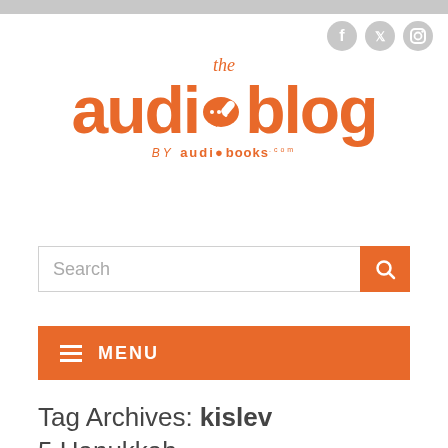[Figure (logo): The Audioblog by audiobooks.com logo in orange]
Search
MENU
Tag Archives: kislev
5 Hanukkah